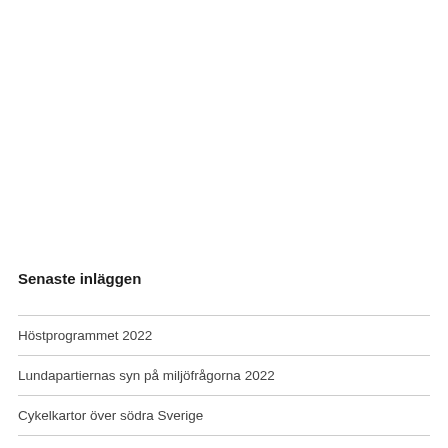Senaste inläggen
Höstprogrammet 2022
Lundapartiernas syn på miljöfrågorna 2022
Cykelkartor över södra Sverige